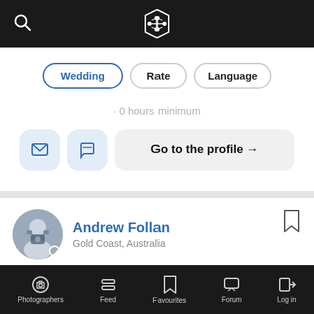[Figure (screenshot): Top navigation bar with search icon on left and hexagonal logo in center, dark background]
Wedding
Rate
Language
0 hours minimum
Go to the profile →
Andrew Follan
Gold Coast, Australia
Owner and head photographer and videographer at New Black Studios. Based on the Gold Coast, Qld, Australia, our team offers high quality, yet affordable, wedding photography & videography. With ...
[Figure (screenshot): Bottom navigation bar with icons: Photographers, Feed, Favourites, Forum, Log in]